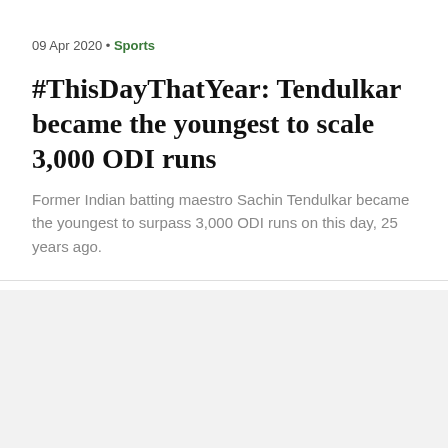09 Apr 2020 • Sports
#ThisDayThatYear: Tendulkar became the youngest to scale 3,000 ODI runs
Former Indian batting maestro Sachin Tendulkar became the youngest to surpass 3,000 ODI runs on this day, 25 years ago.